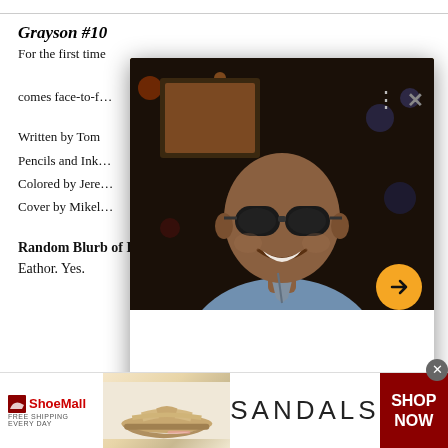Grayson #10
For the first time… comes face-to-f…
Written by Tom
Pencils and Ink…
Colored by Jere…
Cover by Mikel…
[Figure (photo): Popup overlay showing a photo of a bald man wearing sunglasses and a light blue blazer, smiling. The popup has a yellow top bar, close (X) button, three-dot menu, and an orange navigation arrow button.]
Random Blurb of Excitement: Dick. Eathor. Yes.
[Figure (other): ShoeMall advertisement banner with logo, sandal image, 'SANDALS' text, and 'SHOP NOW' on dark red background.]